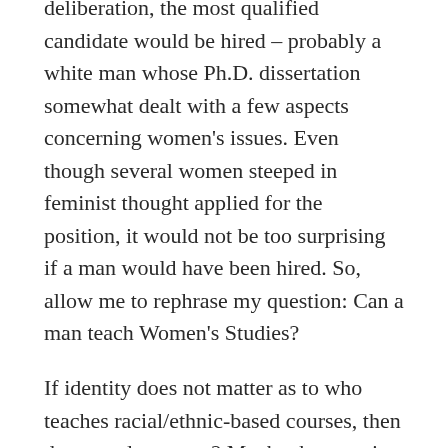deliberation, the most qualified candidate would be hired – probably a white man whose Ph.D. dissertation somewhat dealt with a few aspects concerning women's issues. Even though several women steeped in feminist thought applied for the position, it would not be too surprising if a man would have been hired. So, allow me to rephrase my question: Can a man teach Women's Studies?
If identity does not matter as to who teaches racial/ethnic-based courses, then does gender matter? Maybe the question is not can but should. If we ask can, then the